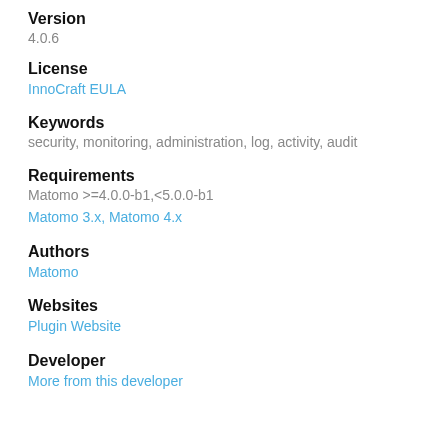Version
4.0.6
License
InnoCraft EULA
Keywords
security, monitoring, administration, log, activity, audit
Requirements
Matomo >=4.0.0-b1,<5.0.0-b1
Matomo 3.x, Matomo 4.x
Authors
Matomo
Websites
Plugin Website
Developer
More from this developer